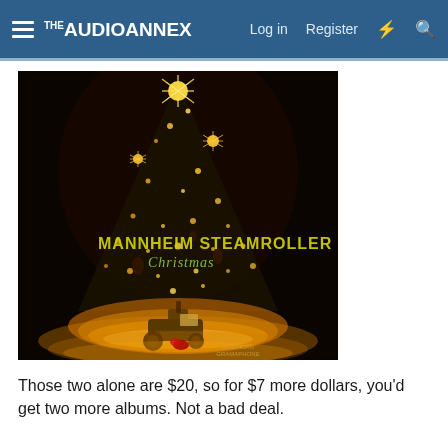THE AUDIO ANNEX  Log in  Register
[Figure (photo): Album cover of Mannheim Steamroller Christmas — a glowing Christmas tree with golden lights against a dark background, with a small steamroller toy at the base. Text reads MANNHEIM STEAMROLLER Christmas. American Gramaphone label visible bottom right.]
Those two alone are $20, so for $7 more dollars, you'd get two more albums. Not a bad deal.